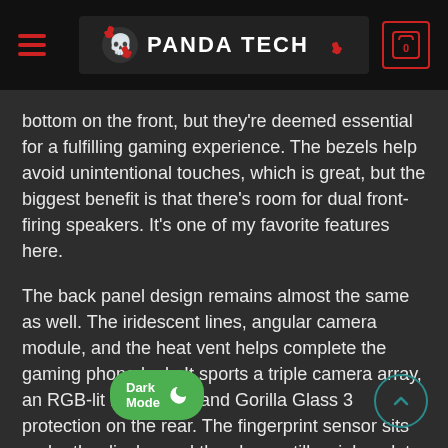PANDA TECH
bottom on the front, but they're deemed essential for a fulfilling gaming experience. The bezels help avoid unintentional touches, which is great, but the biggest benefit is that there's room for dual front-firing speakers. It's one of my favorite features here.
The back panel design remains almost the same as well. The iridescent lines, angular camera module, and the heat vent helps complete the gaming phone look. It sports a triple camera array, an RGB-lit ROG logo, and Gorilla Glass 3 protection on the rear. The fingerprint sensor sits under the display and the phone still weighs a lot – 240 grams, to be exact.
144Hz Display